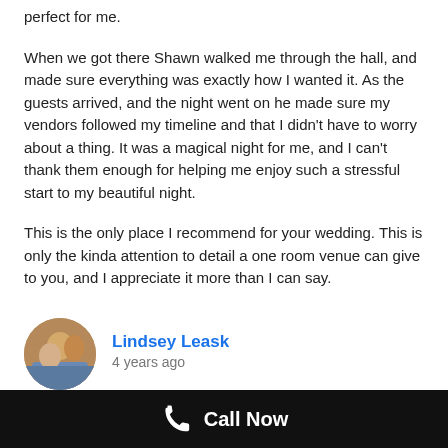perfect for me.
When we got there Shawn walked me through the hall, and made sure everything was exactly how I wanted it. As the guests arrived, and the night went on he made sure my vendors followed my timeline and that I didn't have to worry about a thing. It was a magical night for me, and I can't thank them enough for helping me enjoy such a stressful start to my beautiful night.
This is the only place I recommend for your wedding. This is only the kinda attention to detail a one room venue can give to you, and I appreciate it more than I can say.
Lindsey Leask
4 years ago
I could not be more impressed with Lakeland Manor. This venue is the most
Call Now